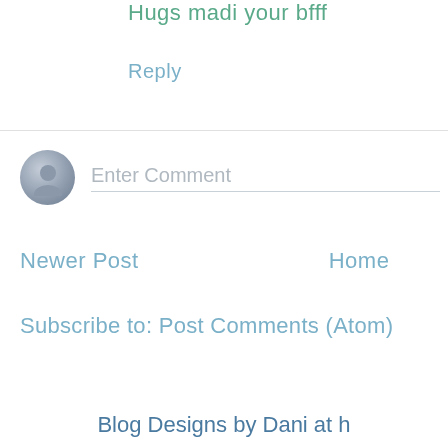Hugs madi your bfff
Reply
[Figure (illustration): Grey avatar/profile placeholder icon circle]
Enter Comment
Newer Post
Home
Subscribe to: Post Comments (Atom)
Blog Designs by Dani at h